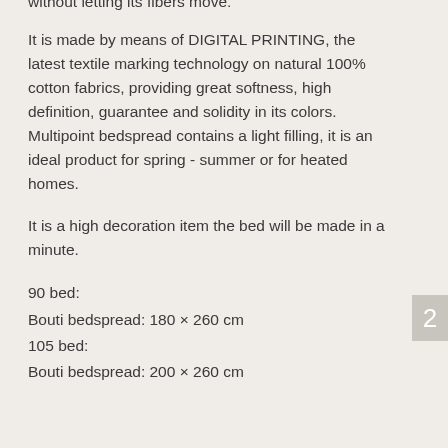without letting its fibers move.
It is made by means of DIGITAL PRINTING, the latest textile marking technology on natural 100% cotton fabrics, providing great softness, high definition, guarantee and solidity in its colors. Multipoint bedspread contains a light filling, it is an ideal product for spring - summer or for heated homes.
It is a high decoration item the bed will be made in a minute.
90 bed:
Bouti bedspread: 180 × 260 cm
105 bed:
Bouti bedspread: 200 × 260 cm